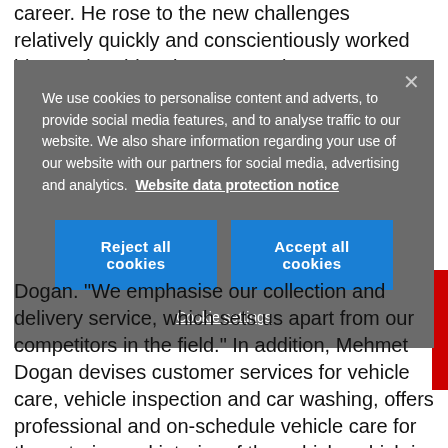career. He rose to the new challenges relatively quickly and conscientiously worked his way into his role as managing
We use cookies to personalise content and adverts, to provide social media features, and to analyse traffic to our website. We also share information regarding your use of our website with our partners for social media, advertising and analytics. Website data protection notice
Reject all cookies
Accept all cookies
Cookie settings
Dogan. "We emphasise our collection and delivery service, which sets us apart from our competitors in the field." In addition, Mehmet Dogan devises customer services for vehicle care, vehicle inspection and car washing, offers professional and on-schedule vehicle care for the exterior and interior of the vehicle, which is first collected from the customer and returned to the customer after the cleaning and care service.